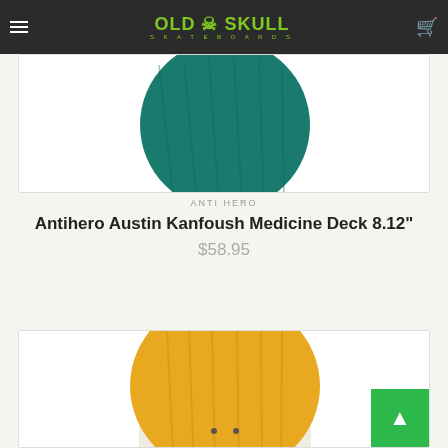Old Skull Skateboards
[Figure (photo): Partial view of a teal/dark green circular skateboard deck top against white background, inside a bordered card]
ANTI HERO
Antihero Austin Kanfoush Medicine Deck 8.12"
$58.95
[Figure (photo): Partial view of a gold/yellow wood-grain circular skateboard deck top against white background, inside a bordered card]